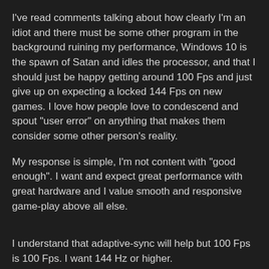I've read comments talking about how clearly I'm an idiot and there must be some other program in the background ruining my performance, Windows 10 is the spawn of Satan and idles the processor, and that I should just be happy getting around 100 Fps and just give up on expecting a locked 144 Fps on new games. I love how people love to condescend and spout "user error" on anything that makes them consider some other person's reality.
My response is simple, I'm not content with "good enough". I want and expect great performance with great hardware and I value smooth and responsive game-play above all else.
I understand that adaptive-sync will help but 100 Fps is 100 Fps. I want 144 Hz or higher.
I'd also like to clarify that BF4 stuttering while downloading from Steam is entirely due to CPU usage. I'm downloading to a different drive, my internet is fast enough, and I have more than enough RAM.